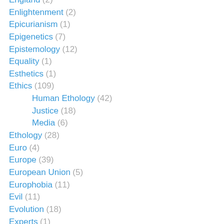England (2)
Enlightenment (2)
Epicurianism (1)
Epigenetics (7)
Epistemology (12)
Equality (1)
Esthetics (1)
Ethics (109)
Human Ethology (42)
Justice (18)
Media (6)
Ethology (28)
Euro (4)
Europe (39)
European Union (5)
Europhobia (11)
Evil (11)
Evolution (18)
Experts (1)
Exponential (2)